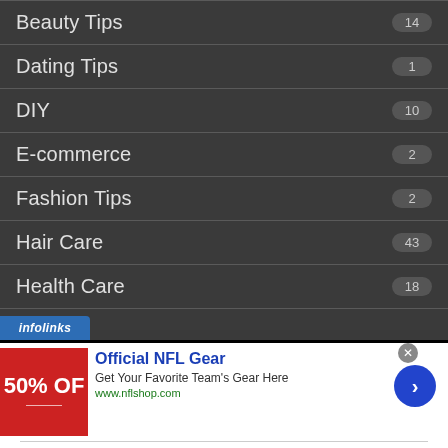Beauty Tips  14
Dating Tips  1
DIY  10
E-commerce  2
Fashion Tips  2
Hair Care  43
Health Care  18
[Figure (screenshot): Infolinks advertisement banner for Official NFL Gear: '50% OFF - Official NFL Gear - Get Your Favorite Team's Gear Here - www.nflshop.com' with close button and arrow button]